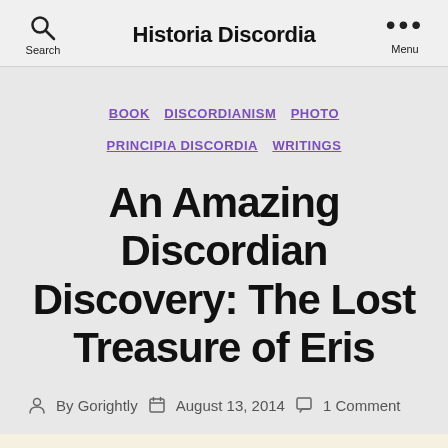Historia Discordia
BOOK  DISCORDIANISM  PHOTO  PRINCIPIA DISCORDIA  WRITINGS
An Amazing Discordian Discovery: The Lost Treasure of Eris
By Gorightly  August 13, 2014  1 Comment